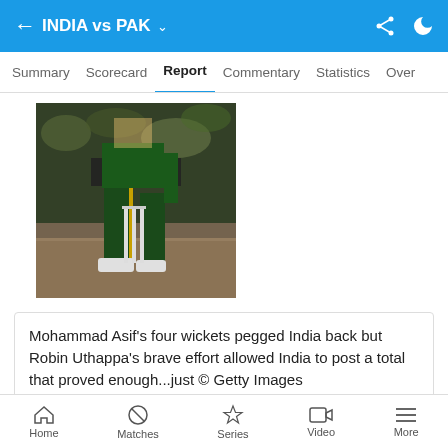INDIA vs PAK
Summary  Scorecard  Report  Commentary  Statistics  Over
[Figure (photo): Cricket player in green Pakistan uniform standing near stumps on a cricket pitch, crowd in background]
Mohammad Asif's four wickets pegged India back but Robin Uthappa's brave effort allowed India to post a total that proved enough...just © Getty Images
Harbhajan's otherwise immaculate spell was ruined by
Home  Matches  Series  Video  More